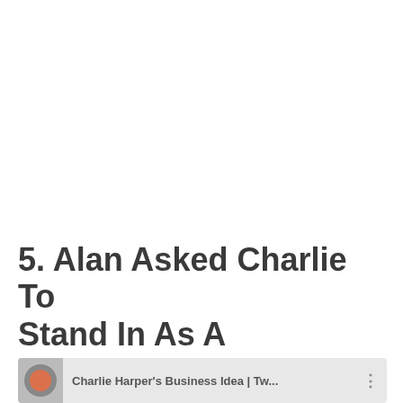5. Alan Asked Charlie To Stand In As A Receptionist At His Clinic
[Figure (screenshot): Thumbnail bar showing a video or article preview with a circular avatar image and text reading 'Charlie Harper's Business Idea | Tw...' with a three-dot menu icon]